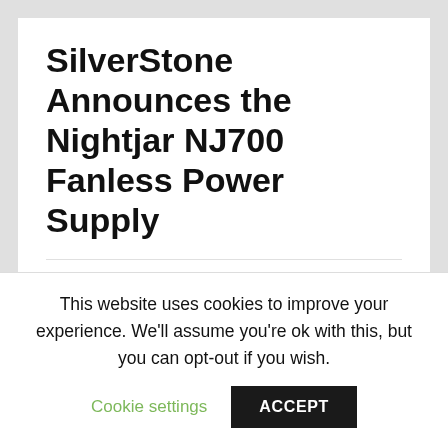SilverStone Announces the Nightjar NJ700 Fanless Power Supply
Peter | 0 dBA, 80 Plus, 80 PLUS Titanium, A, Cybernetic A++, Cybernetics, Fan-Less, Fanless, Hardware, modular, Modular Design, News, Nightjar, NightJar 700, NJ 700 PSU, NJ700, Power, power supply, PSU, Silver Stone, silverstone, SilverStone Power Supply, SilverStone PSU, Supply, Titanium, White, White PSU | January 26, 2021
This website uses cookies to improve your experience. We'll assume you're ok with this, but you can opt-out if you wish.